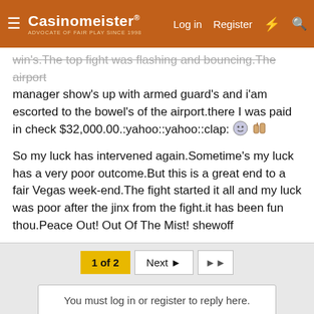Casinomeister — ADVOCATE OF FAIR PLAY SINCE 1998 | Log in | Register
win's.The top fight was flashing and bouncing.The airport manager show's up with armed guard's and i'am escorted to the bowel's of the airport.there I was paid in check $32,000.00.:yahoo::yahoo::clap:
So my luck has intervened again.Sometime's my luck has a very poor outcome.But this is a great end to a fair Vegas week-end.The fight started it all and my luck was poor after the jinx from the fight.it has been fun thou.Peace Out! Out Of The Mist! shewoff
1 of 2  Next  >>
You must log in or register to reply here.
This site uses cookies to help personalise content, tailor your experience and to keep you logged in if you register.
By continuing to use this site, you are consenting to our use of cookies.
Accept  Learn more...